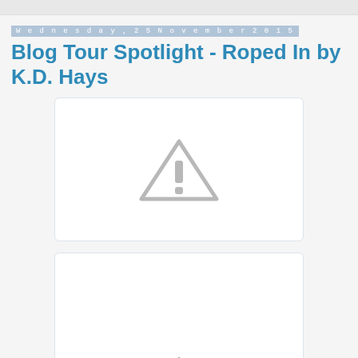Wednesday, 25 November 2015
Blog Tour Spotlight - Roped In by K.D. Hays
[Figure (illustration): Image placeholder with warning/broken image icon (triangle with exclamation mark)]
[Figure (illustration): Image placeholder with warning/broken image icon (triangle with exclamation mark), partially visible]